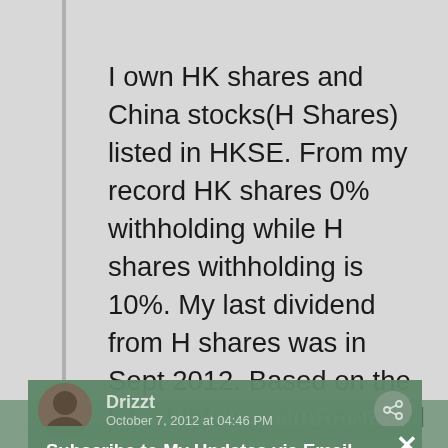I own HK shares and China stocks(H Shares) listed in HKSE. From my record HK shares 0% withholding while H shares withholding is 10%. My last dividend from H shares was in Sept 2012. Based on the latest info you've provided the withholding should be 5% though.
Subscribe to My Updates via Email
Get our latest Wealth Management, REITs, Active Stock Investing and Financial Independence Articles and Promotions in Your Email Today
Email
SUBSCRIBE
Drizzt
October 7, 2012 at 04:46 PM